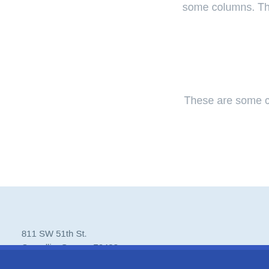some columns. Th
These are some c
811 SW 51th St.
Corvallis, Oregon 70433